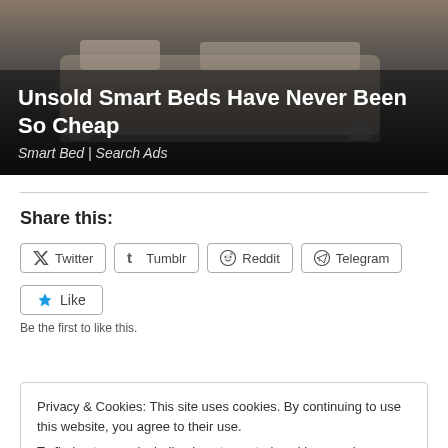[Figure (photo): Advertisement banner showing a smart bed with text overlay. Dark-toned bedroom furniture photo with gradient overlay.]
Unsold Smart Beds Have Never Been So Cheap
Smart Bed | Search Ads
Share this:
Twitter  Tumblr  Reddit  Telegram
Like
Be the first to like this.
Privacy & Cookies: This site uses cookies. By continuing to use this website, you agree to their use.
To find out more, including how to control cookies, see here: Cookie Policy
Close and accept
Artists [#645]